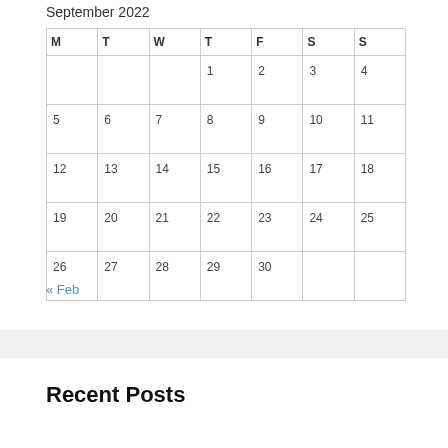September 2022
| M | T | W | T | F | S | S |
| --- | --- | --- | --- | --- | --- | --- |
|  |  |  | 1 | 2 | 3 | 4 |
| 5 | 6 | 7 | 8 | 9 | 10 | 11 |
| 12 | 13 | 14 | 15 | 16 | 17 | 18 |
| 19 | 20 | 21 | 22 | 23 | 24 | 25 |
| 26 | 27 | 28 | 29 | 30 |  |  |
« Feb
Recent Posts